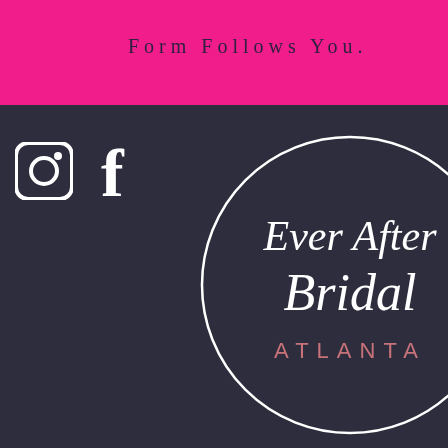FORM FOLLOWS YOU.
[Figure (logo): Ever After Bridal Atlanta circular logo in white script on dark background]
ets or
ns or
and winning as well s. 17 ypto e slots 1.
g complimentary blackjack bets and video slot spins
As technology evolves, we see a parallel evolution in the way players are consuming online casinos. For example, the innovation in the authentication process for online banking services leads to a faster player verification and instant withdrawals of winnings in online casinos. Today, it is possible for players to log into a no account